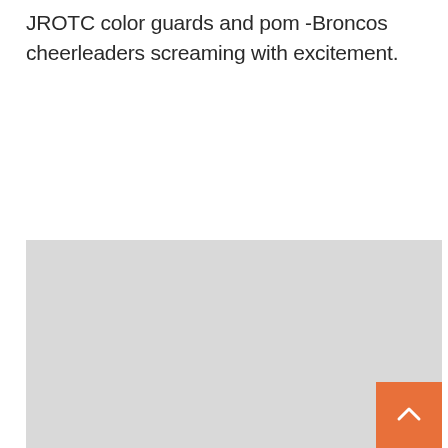JROTC color guards and pom -Broncos cheerleaders screaming with excitement.
[Figure (map): A light gray map or image placeholder area occupying the lower portion of the page, with an orange scroll-to-top button in the bottom-right corner.]